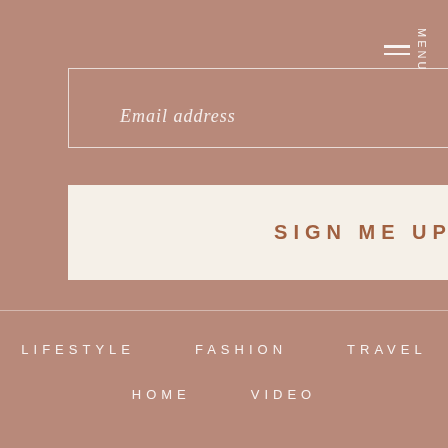[Figure (illustration): Website newsletter signup page with terracotta/brown background, sage green circle shape in top-right corner, email input field with border, sign me up button in cream color, hamburger menu icon with MENU text, and navigation links at the bottom.]
Email address
SIGN ME UP
MENU
LIFESTYLE
FASHION
TRAVEL
HOME
VIDEO